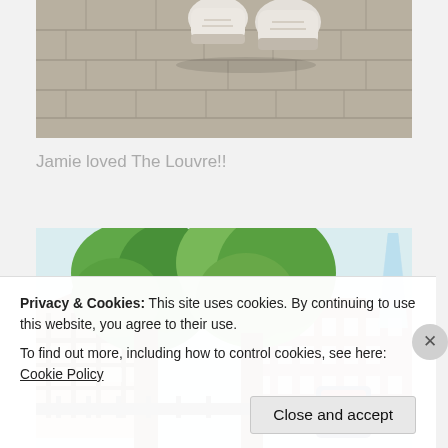[Figure (photo): Close-up photo of a person's feet/shoes (white sneakers) standing on a stone/brick pavement, cropped at the top of the page.]
Jamie loved The Louvre!!
[Figure (photo): Outdoor photo showing a large green tree in the foreground with historic brick buildings and The Shard skyscraper visible in the background, likely taken near the Tower of London area.]
Privacy & Cookies: This site uses cookies. By continuing to use this website, you agree to their use.
To find out more, including how to control cookies, see here: Cookie Policy
Close and accept